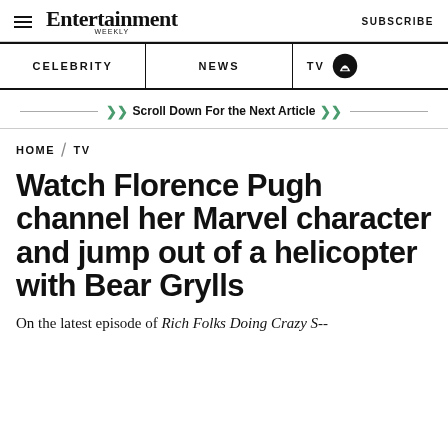Entertainment Weekly  SUBSCRIBE
CELEBRITY
NEWS
TV
Scroll Down For the Next Article
HOME / TV
Watch Florence Pugh channel her Marvel character and jump out of a helicopter with Bear Grylls
On the latest episode of Rich Folks Doing Crazy S--